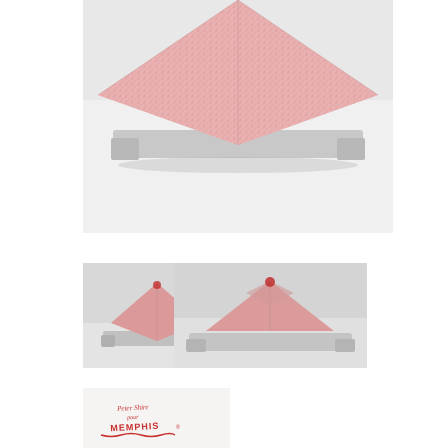[Figure (photo): Close-up overhead view of a pyramid-shaped ceramic object with pink/red speckled texture on top surface, resting on a flat silver/metal tray base. The pyramid top has geometric triangular facets. White background.]
[Figure (photo): Small thumbnail photo of the same pink speckled pyramid ceramic object on silver tray base, viewed from a slightly elevated angle. Gray background.]
[Figure (photo): Wider thumbnail photo of the pink speckled pyramid ceramic object on silver tray base, showing a front-facing view. Gray background.]
[Figure (photo): Photo of the underside/base of the ceramic object showing a red handwritten maker's mark reading 'Peter Shire pour MEMPHIS' with decorative underline. White background.]